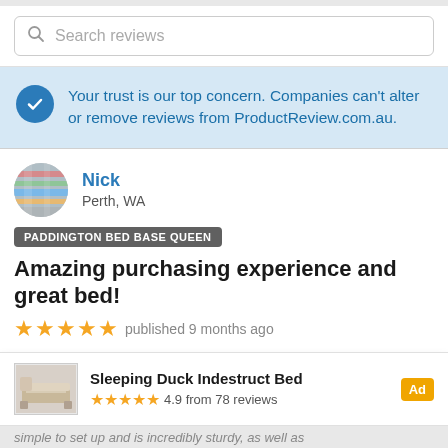[Figure (screenshot): Search reviews input box with magnifying glass icon]
Your trust is our top concern. Companies can't alter or remove reviews from ProductReview.com.au.
[Figure (photo): Avatar photo of reviewer Nick from Perth, WA]
Nick
Perth, WA
PADDINGTON BED BASE QUEEN
Amazing purchasing experience and great bed!
★★★★★ published 9 months ago
Sleeping Duck Indestruct Bed  Ad  ★★★★★ 4.9 from 78 reviews
simple to set up and is incredibly sturdy, as well as